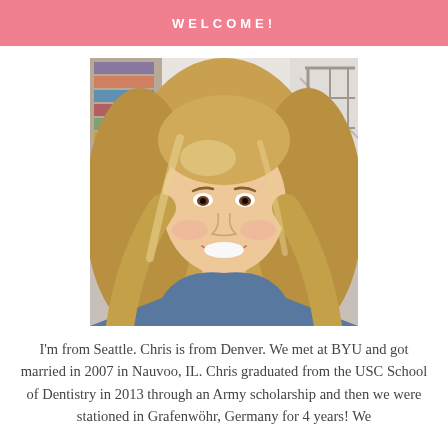WELCOME!
[Figure (photo): Smiling young woman with long blonde wavy hair wearing a dark blue/grey top, photographed indoors with bookshelves and a staircase visible in the background.]
I'm from Seattle. Chris is from Denver. We met at BYU and got married in 2007 in Nauvoo, IL. Chris graduated from the USC School of Dentistry in 2013 through an Army scholarship and then we were stationed in Grafenwöhr, Germany for 4 years! We